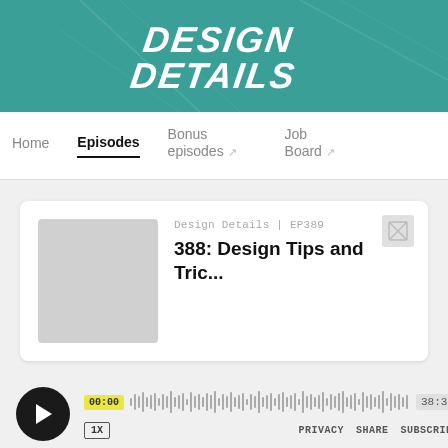[Figure (logo): Design Details podcast logo on teal/green background with diagonal line decorations]
Home | Episodes | Bonus episodes ↗ | Job Board ↗
Design Details | EP389
388: Design Tips and Tric...
[Figure (screenshot): Audio player with play button, waveform, timestamps 00:00 and 38:34, speed 1X, and controls PRIVACY SHARE SUBSCRIBE]